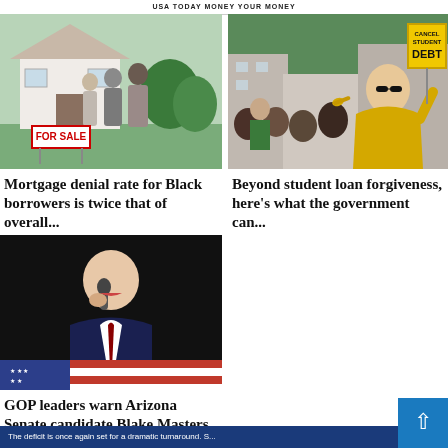USA TODAY MONEY YOUR MONEY
[Figure (photo): Three people viewed from behind standing in front of a house with a FOR SALE sign on the lawn.]
Mortgage denial rate for Black borrowers is twice that of overall...
[Figure (photo): Protesters at a rally holding yellow signs reading CANCEL STUDENT DEBT, with a woman in a yellow jacket in the foreground.]
Beyond student loan forgiveness, here’s what the government can...
[Figure (photo): A man in a dark suit speaking into a microphone at a political rally, with an American flag in the background.]
GOP leaders warn Arizona Senate candidate Blake Masters to raise more...
The deficit is once again set for a dramatic turnaround. S...